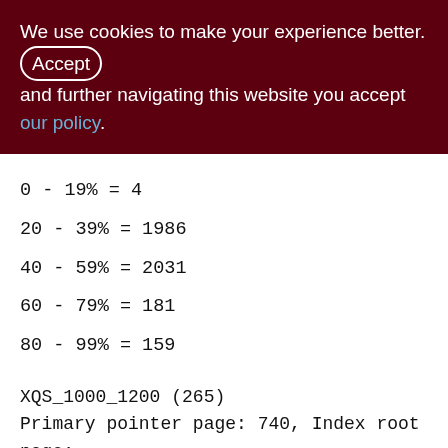We use cookies to make your experience better. By accepting and further navigating this website you accept our policy.
0 - 19% = 4
20 - 39% = 1986
40 - 59% = 2031
60 - 79% = 181
80 - 99% = 159
XQS_1000_1200 (265)
Primary pointer page: 740, Index root page: 741
Total formats: 1, used formats: 1
Average record length: 83.07, total records: 3608013